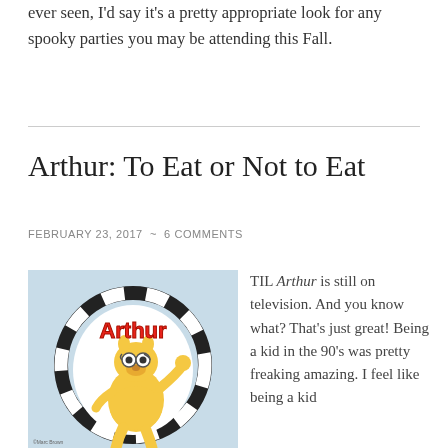ever seen, I'd say it's a pretty appropriate look for any spooky parties you may be attending this Fall.
Arthur: To Eat or Not to Eat
FEBRUARY 23, 2017 ~ 6 COMMENTS
[Figure (illustration): Arthur the aardvark cartoon logo with red text 'Arthur' on a light blue background, character waving]
TIL Arthur is still on television. And you know what? That's just great! Being a kid in the 90's was pretty freaking amazing. I feel like being a kid